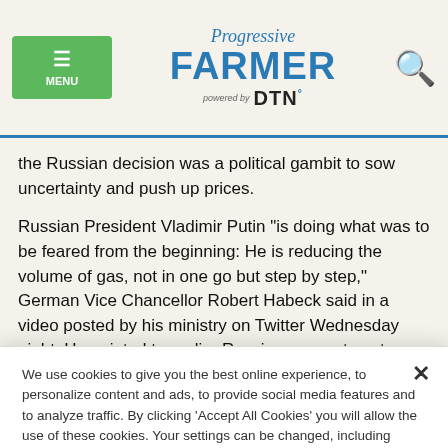Progressive FARMER powered by DTN
the Russian decision was a political gambit to sow uncertainty and push up prices.
Russian President Vladimir Putin "is doing what was to be feared from the beginning: He is reducing the volume of gas, not in one go but step by step," German Vice Chancellor Robert Habeck said in a video posted by his ministry on Twitter Wednesday night. He pointed to earlier Russian moves to cut supplies to Bulgaria, Denmark and others.
We use cookies to give you the best online experience, to personalize content and ads, to provide social media features and to analyze traffic. By clicking 'Accept All Cookies' you will allow the use of these cookies. Your settings can be changed, including withdrawing your consent at any time, by clicking 'Cookie Settings'. Find out more on how we and third parties use cookies in our Cookie Policy
Cookies Settings
Accept All Cookies